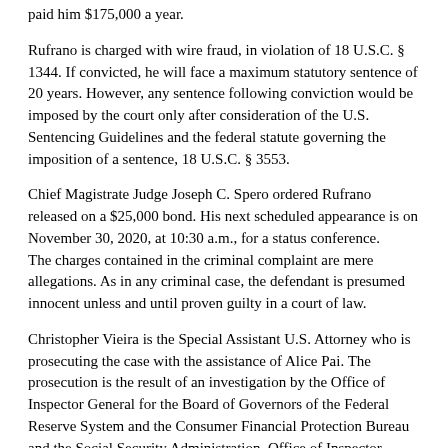paid him $175,000 a year.
Rufrano is charged with wire fraud, in violation of 18 U.S.C. § 1344. If convicted, he will face a maximum statutory sentence of 20 years. However, any sentence following conviction would be imposed by the court only after consideration of the U.S. Sentencing Guidelines and the federal statute governing the imposition of a sentence, 18 U.S.C. § 3553.
Chief Magistrate Judge Joseph C. Spero ordered Rufrano released on a $25,000 bond. His next scheduled appearance is on November 30, 2020, at 10:30 a.m., for a status conference.
The charges contained in the criminal complaint are mere allegations. As in any criminal case, the defendant is presumed innocent unless and until proven guilty in a court of law.
Christopher Vieira is the Special Assistant U.S. Attorney who is prosecuting the case with the assistance of Alice Pai. The prosecution is the result of an investigation by the Office of Inspector General for the Board of Governors of the Federal Reserve System and the Consumer Financial Protection Bureau and the Social Security Administration, Office of Inspector General.